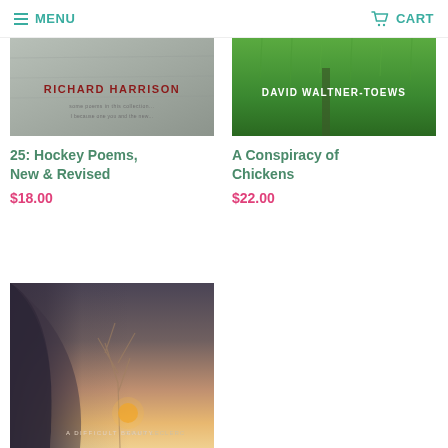MENU   CART
[Figure (photo): Book cover for '25: Hockey Poems, New & Revised' by Richard Harrison — grey textured background with author name in dark red]
25: Hockey Poems, New & Revised
$18.00
[Figure (photo): Book cover for 'A Conspiracy of Chickens' by David Waltner-Toews — green grass/nature background with white author name]
A Conspiracy of Chickens
$22.00
[Figure (photo): Book cover 'A Difficult Beauty' by David Leclerc — dark moody cover with sunset/sunrise and tree silhouette]